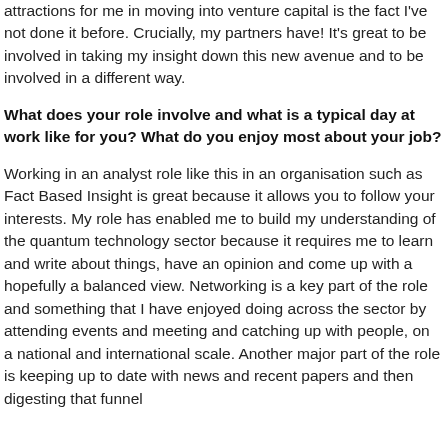attractions for me in moving into venture capital is the fact I've not done it before. Crucially, my partners have! It's great to be involved in taking my insight down this new avenue and to be involved in a different way.
What does your role involve and what is a typical day at work like for you? What do you enjoy most about your job?
Working in an analyst role like this in an organisation such as Fact Based Insight is great because it allows you to follow your interests. My role has enabled me to build my understanding of the quantum technology sector because it requires me to learn and write about things, have an opinion and come up with a hopefully a balanced view. Networking is a key part of the role and something that I have enjoyed doing across the sector by attending events and meeting and catching up with people, on a national and international scale. Another major part of the role is keeping up to date with news and recent papers and then digesting that funnel